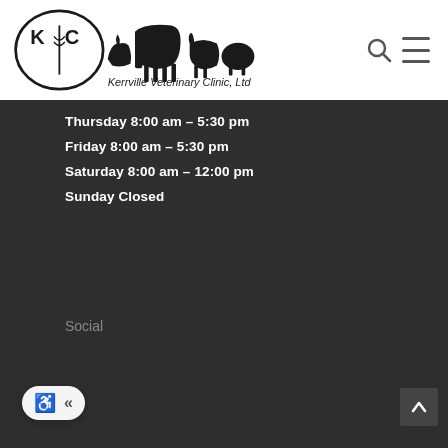[Figure (logo): Kerrville Veterinary Clinic logo with KVC text in oval and silhouettes of animals including cat, horse, dog, pig]
Thursday 8:00 am – 5:30 pm
Friday 8:00 am – 5:30 pm
Saturday 8:00 am – 12:00 pm
Sunday Closed
Social